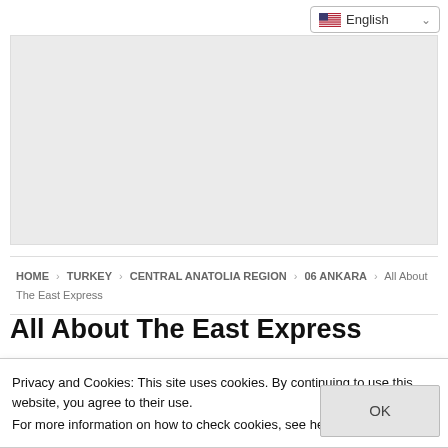English (language selector)
[Figure (other): Advertisement placeholder area (gray box)]
HOME > TURKEY > CENTRAL ANATOLIA REGION > 06 ANKARA > All About The East Express
All About The East Express
Privacy and Cookies: This site uses cookies. By continuing to use this website, you agree to their use.
For more information on how to check cookies, see here: Cookie Policy
[Figure (photo): Snowy mountain landscape visible at bottom of page]